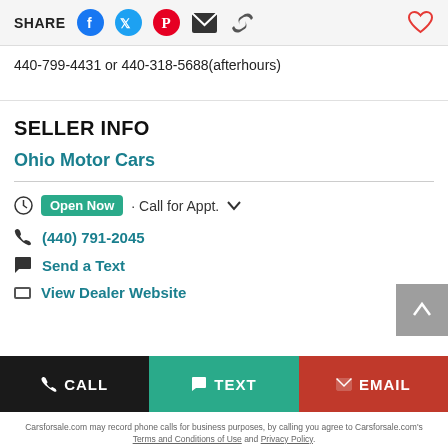SHARE (social icons: Facebook, Twitter, Pinterest, Email, Link) | (heart/favorite icon)
440-799-4431 or 440-318-5688(afterhours)
SELLER INFO
Ohio Motor Cars
Open Now · Call for Appt.
(440) 791-2045
Send a Text
View Dealer Website
CALL   TEXT   EMAIL
Carsforsale.com may record phone calls for business purposes, by calling you agree to Carsforsale.com's Terms and Conditions of Use and Privacy Policy.